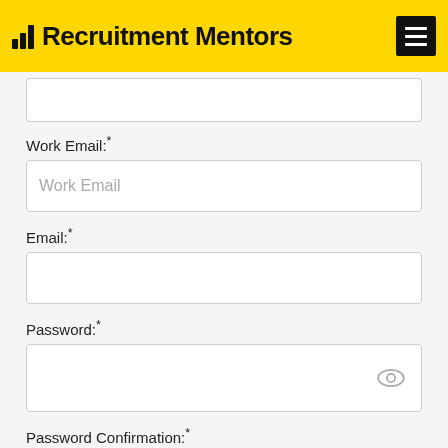Recruitment Mentors
Work Email:*
Work Email (placeholder)
Email:*
Password:*
Password Confirmation:*